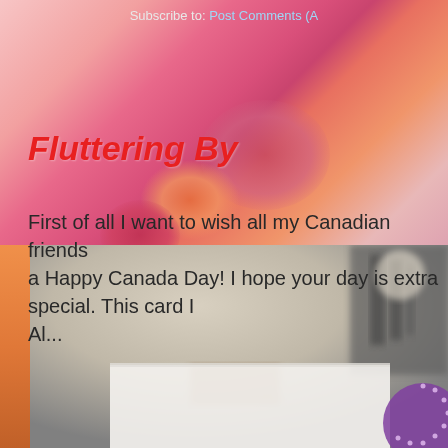Subscribe to: Post Comments (A
Fluttering By
First of all I want to wish all my Canadian friends a Happy Canada Day! I hope your day is extra special. This card I Al...
[Figure (photo): A blurred photograph showing a craft workspace with a white card, art supplies in the background, and a purple decorative element in the lower right corner.]